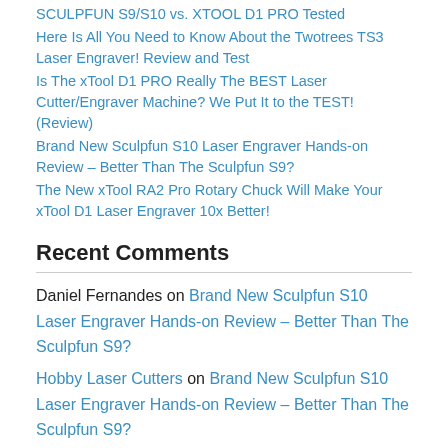SCULPFUN S9/S10 vs. XTOOL D1 PRO Tested
Here Is All You Need to Know About the Twotrees TS3 Laser Engraver! Review and Test
Is The xTool D1 PRO Really The BEST Laser Cutter/Engraver Machine? We Put It to the TEST! (Review)
Brand New Sculpfun S10 Laser Engraver Hands-on Review – Better Than The Sculpfun S9?
The New xTool RA2 Pro Rotary Chuck Will Make Your xTool D1 Laser Engraver 10x Better!
Recent Comments
Daniel Fernandes on Brand New Sculpfun S10 Laser Engraver Hands-on Review – Better Than The Sculpfun S9?
Hobby Laser Cutters on Brand New Sculpfun S10 Laser Engraver Hands-on Review – Better Than The Sculpfun S9?